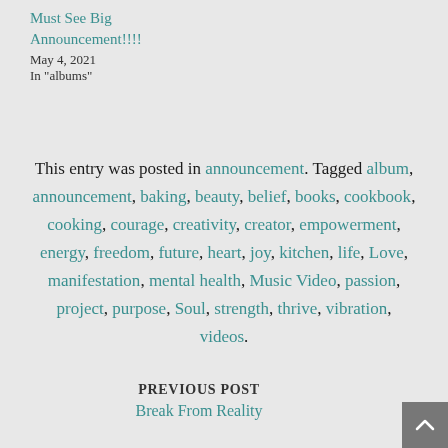Must See Big Announcement!!!!
May 4, 2021
In "albums"
This entry was posted in announcement. Tagged album, announcement, baking, beauty, belief, books, cookbook, cooking, courage, creativity, creator, empowerment, energy, freedom, future, heart, joy, kitchen, life, Love, manifestation, mental health, Music Video, passion, project, purpose, Soul, strength, thrive, vibration, videos.
PREVIOUS POST
Break From Reality